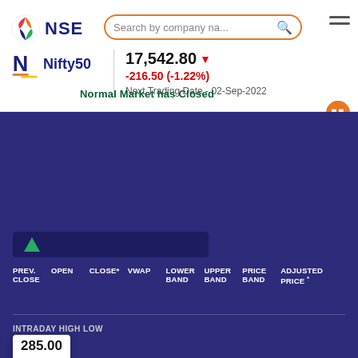[Figure (screenshot): NSE logo with multicolor circular icon and bold NSE text]
Search by company na...
[Figure (screenshot): Nifty50 logo with stylized N icon]
Nifty50
17,542.80 ▼
-216.50 (-1.22%)
Normal Market has Closed
Next Trading Date - 02-Sep-2022
PREV. CLOSE   OPEN  CLOSE*  VWAP   LOWER BAND   UPPER BAND   PRICE BAND   ADJUSTED PRICE *
INTRADAY HIGH LOW
285.00
52 WEEK HIGH LOW
285.00